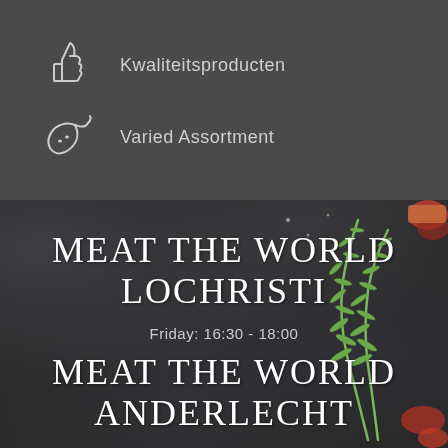Kwaliteitsproducten
Varied Assortment
MEAT THE WORLD LOCHRISTI
Friday: 16:30 - 18:00
MEAT THE WORLD ANDERLECHT